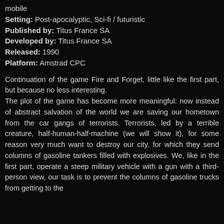mobile
Setting: Post-apocalyptic, Sci-fi / futuristic
Published by: Titus France SA
Developed by: Titus France SA
Released: 1990
Platform: Amstrad CPC
Continuation of the game Fire and Forget, little like the first part, but because no less interesting. The plot of the game has become more meaningful: now instead of abstract salvation of the world we are saving our hometown from the car gangs of terrorists. Terrorists, led by a terrible creature, half-human-half-machine (we will show it), for some reason very much want to destroy our city, for which they send columns of gasoline tankers filled with explosives. We, like in the first part, operate a steep military vehicle with a gun with a third-person view, our task is to prevent the columns of gasoline trucks from getting to the